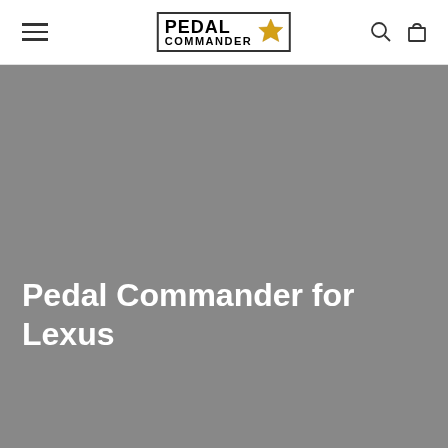Pedal Commander navigation header with hamburger menu, logo, search and cart icons
[Figure (logo): Pedal Commander logo: bold text PEDAL COMMANDER with a gold star inside a bordered box]
Pedal Commander for Lexus